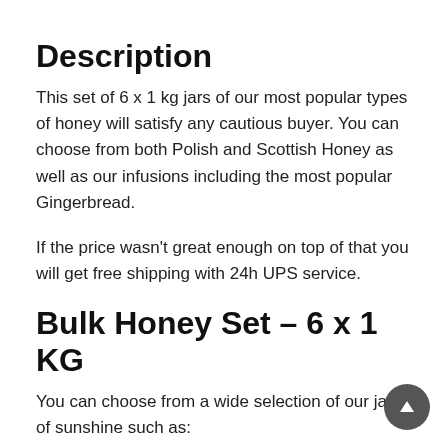Description
This set of 6 x 1 kg jars of our most popular types of honey will satisfy any cautious buyer. You can choose from both Polish and Scottish Honey as well as our infusions including the most popular Gingerbread.
If the price wasn't great enough on top of that you will get free shipping with 24h UPS service.
Bulk Honey Set – 6 x 1 KG
You can choose from a wide selection of our jars of sunshine such as: